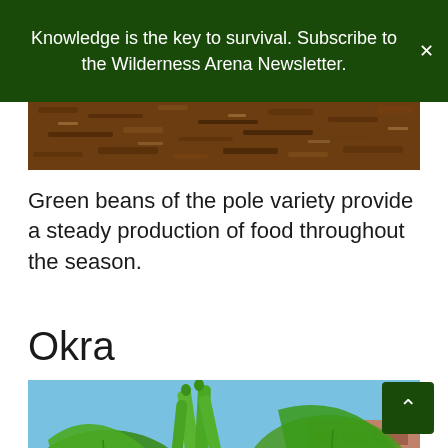Knowledge is the key to survival. Subscribe to the Wilderness Arena Newsletter.
[Figure (photo): Close-up photo of brown soil/mulch, partially visible at top of content area]
Green beans of the pole variety provide a steady production of food throughout the season.
Okra
[Figure (photo): Photo of okra plant with green okra pods and large leaves, blue sky and brick building in background]